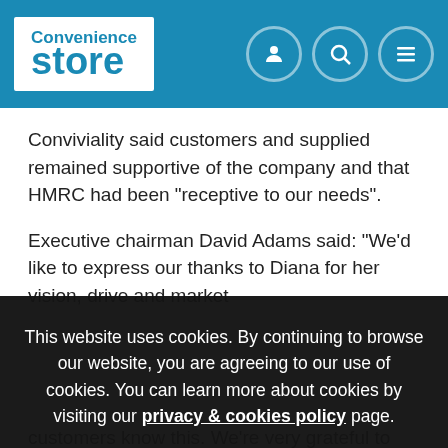Convenience Store
Conviviality said customers and supplied remained supportive of the company and that HMRC had been "receptive to our needs".
Executive chairman David Adams said: “We’d like to express our thanks to Diana for her vision, drive and market understanding. We’re very grateful to have so many customers know this. We’re very grateful to have so many people across the industry stand by our side and rally around
This website uses cookies. By continuing to browse our website, you are agreeing to our use of cookies. You can learn more about cookies by visiting our privacy & cookies policy page.